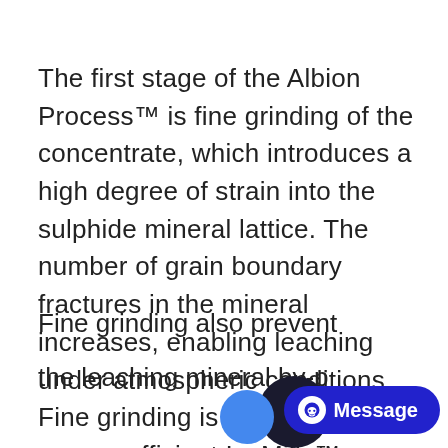The first stage of the Albion Process™ is fine grinding of the concentrate, which introduces a high degree of strain into the sulphide mineral lattice. The number of grain boundary fractures in the mineral increases, enabling leaching under atmospheric conditions. Fine grinding is carried out in energy efficient IsaMills™.
Fine grinding also prevents the leaching mineral by-products of the